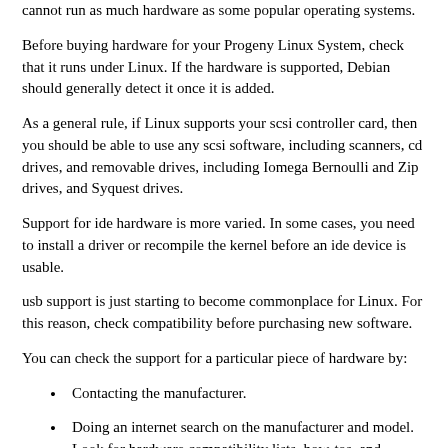cannot run as much hardware as some popular operating systems.
Before buying hardware for your Progeny Linux System, check that it runs under Linux. If the hardware is supported, Debian should generally detect it once it is added.
As a general rule, if Linux supports your scsi controller card, then you should be able to use any scsi software, including scanners, cd drives, and removable drives, including Iomega Bernoulli and Zip drives, and Syquest drives.
Support for ide hardware is more varied. In some cases, you need to install a driver or recompile the kernel before an ide device is usable.
usb support is just starting to become commonplace for Linux. For this reason, check compatibility before purchasing new software.
You can check the support for a particular piece of hardware by:
Contacting the manufacturer.
Doing an internet search on the manufacturer and model. Look for hardware compatibility lists, how-tos, and discussion groups in which people describe their experiences.